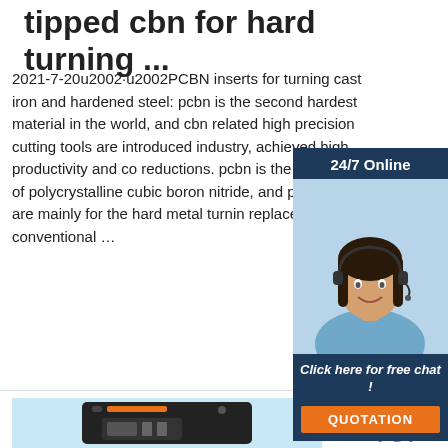tipped cbn for hard turning ...
2021-7-20u2002·u2002PCBN inserts for turning cast iron and hardened steel: pcbn is the second hardest material in the world, and cbn related high precision cutting tools are introduced industry, achieved high productivity and cost reductions. pcbn is the short name of polycrystalline cubic boron nitride, and pcb inserts are mainly for the hard metal turning replace the conventional ...
[Figure (photo): Customer service woman with headset smiling, shown in a dark blue chat widget panel with '24/7 Online' header, 'Click here for free chat!' text, and an orange QUOTATION button]
[Figure (other): Orange 'Get Price' button]
[Figure (other): TOP navigation button with orange dots above and 'TOP' text in orange]
[Figure (photo): Black electronic device/box mod product on light blue background]